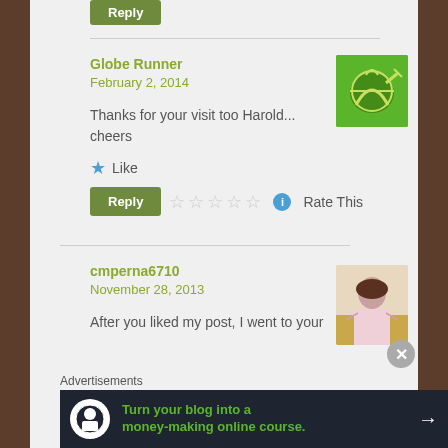Reply
Globe Runner
February 2, 2014
Thanks for your visit too Harold... cheers
Like
Reply  Rate This
cmperna6710
November 28, 2013
After you liked my post, I went to your
Advertisements
Turn your blog into a money-making online course.